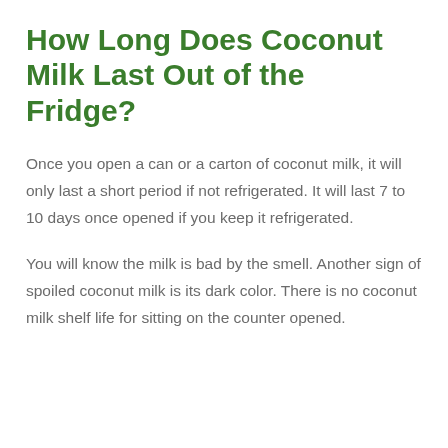How Long Does Coconut Milk Last Out of the Fridge?
Once you open a can or a carton of coconut milk, it will only last a short period if not refrigerated. It will last 7 to 10 days once opened if you keep it refrigerated.
You will know the milk is bad by the smell. Another sign of spoiled coconut milk is its dark color. There is no coconut milk shelf life for sitting on the counter opened.